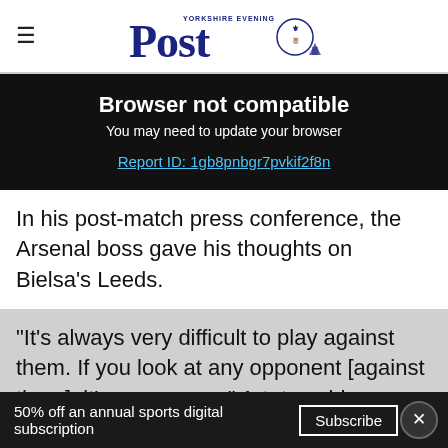Yorkshire Evening Post
Browser not compatible
You may need to update your browser
Report ID: 1gb8pnbgr7pvkif2f8n
In his post-match press conference, the Arsenal boss gave his thoughts on Bielsa's Leeds.
"It's always very difficult to play against them. If you look at any opponent [against them], it's never easy," Arteta said.
50% off an annual sports digital subscription  Subscribe